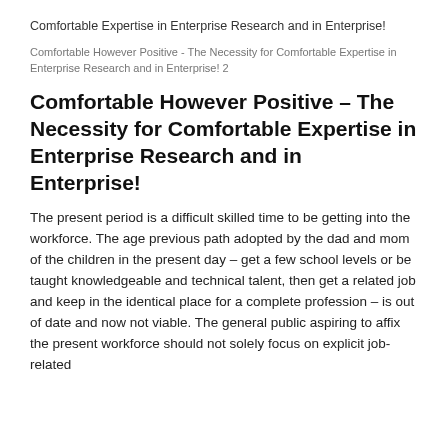Comfortable Expertise in Enterprise Research and in Enterprise!
Comfortable However Positive - The Necessity for Comfortable Expertise in Enterprise Research and in Enterprise! 2
Comfortable However Positive – The Necessity for Comfortable Expertise in Enterprise Research and in Enterprise!
The present period is a difficult skilled time to be getting into the workforce. The age previous path adopted by the dad and mom of the children in the present day – get a few school levels or be taught knowledgeable and technical talent, then get a related job and keep in the identical place for a complete profession – is out of date and now not viable. The general public aspiring to affix the present workforce should not solely focus on explicit job-related